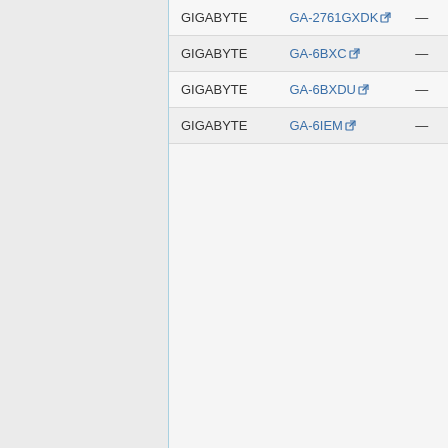| Manufacturer | Model |  |
| --- | --- | --- |
| GIGABYTE | GA-2761GXDK | — |
| GIGABYTE | GA-6BXC | — |
| GIGABYTE | GA-6BXDU | — |
| GIGABYTE | GA-6IEM | — |